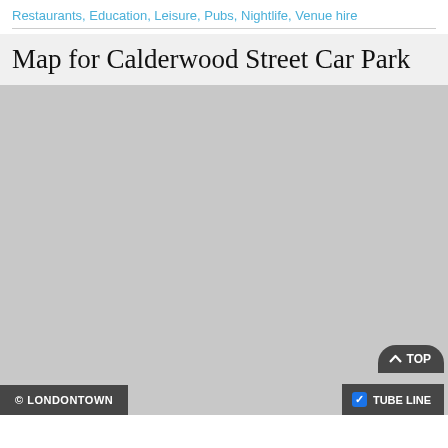Restaurants, Education, Leisure, Pubs, Nightlife, Venue hire
Map for Calderwood Street Car Park
[Figure (map): A grey placeholder map area for Calderwood Street Car Park location]
© LONDONTOWN
TOP
TUBE LINE